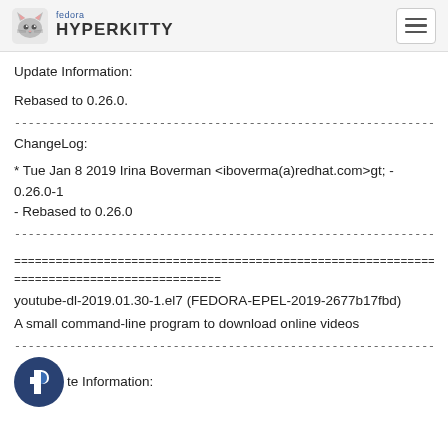Fedora HyperKitty
Update Information:
Rebased to 0.26.0.
--------------------------------------------------------------------------------
ChangeLog:
* Tue Jan 8 2019 Irina Boverman <iboverma(a)redhat.com&gt; - 0.26.0-1
- Rebased to 0.26.0
--------------------------------------------------------------------------------
================================================================================
==============================
youtube-dl-2019.01.30-1.el7 (FEDORA-EPEL-2019-2677b17fbd)
A small command-line program to download online videos
--------------------------------------------------------------------------------
Update Information: